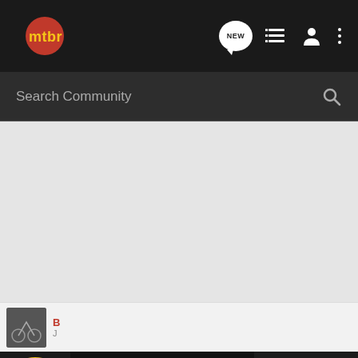[Figure (screenshot): MTBR mountain bike community website navigation bar with logo, NEW post button, list view icon, user icon, and more options icon]
Search Community
[Figure (screenshot): Gray empty content area of mountain bike community forum]
B... J...
[Figure (screenshot): Bass Pro Shops advertisement banner: HIGHEST-RATED GEAR with 4.9 star rating and crossbow image]